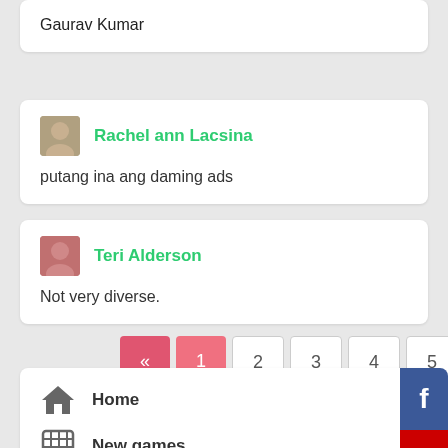Gaurav Kumar
Rachel ann Lacsina
putang ina ang daming ads
Teri Alderson
Not very diverse.
« 1 2 3 4 5 ... 19 20 »
Home
New games